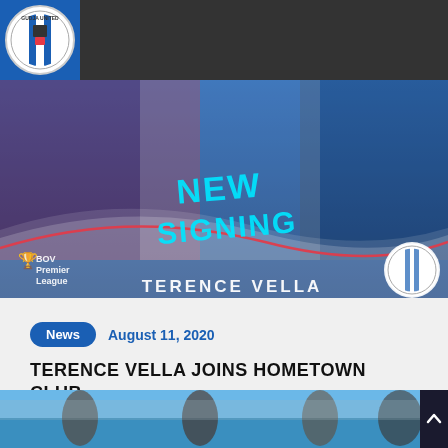Gudja United FC website header with logo, hamburger menu, and search icon
[Figure (photo): New signing announcement banner for Terence Vella. Shows two people shaking hands, with 'NEW SIGNING' text overlay, BOV Premier League logo, and 'TERENCE VELLA' text at the bottom on a blue branded background.]
News · August 11, 2020
TERENCE VELLA JOINS HOMETOWN CLUB
Terence Vella is back home after 13 long years. 'Il-Pilla' as we are sure everybody knows him returns...
[Figure (photo): Partial bottom preview image showing people outdoors near water.]